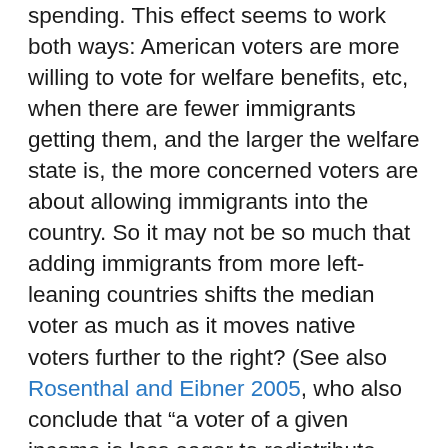spending. This effect seems to work both ways: American voters are more willing to vote for welfare benefits, etc, when there are fewer immigrants getting them, and the larger the welfare state is, the more concerned voters are about allowing immigrants into the country. So it may not be so much that adding immigrants from more left-leaning countries shifts the median voter as much as it moves native voters further to the right? (See also Rosenthal and Eibner 2005, who also conclude that “a voter of a given income is less eager to redistribute given that redistribution has to be shared with the non-citizen poor.”)